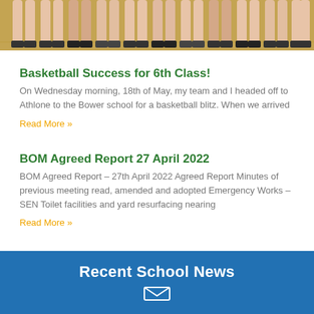[Figure (photo): Photo showing legs and feet of students standing in a row on a gymnasium wooden floor]
Basketball Success for 6th Class!
On Wednesday morning, 18th of May, my team and I headed off to Athlone to the Bower school for a basketball blitz. When we arrived
Read More »
BOM Agreed Report 27 April 2022
BOM Agreed Report – 27th April 2022 Agreed Report Minutes of previous meeting read, amended and adopted Emergency Works – SEN Toilet facilities and yard resurfacing nearing
Read More »
Recent School News